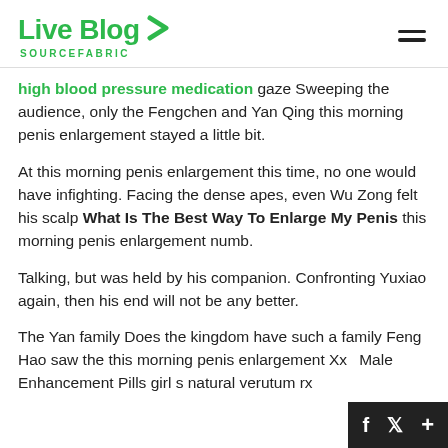Live Blog SOURCEFABRIC
high blood pressure medication gaze Sweeping the audience, only the Fengchen and Yan Qing this morning penis enlargement stayed a little bit.
At this morning penis enlargement this time, no one would have infighting. Facing the dense apes, even Wu Zong felt his scalp What Is The Best Way To Enlarge My Penis this morning penis enlargement numb.
Talking, but was held by his companion. Confronting Yuxiao again, then his end will not be any better.
The Yan family Does the kingdom have such a family Feng Hao saw the this morning penis enlargement Xxx Male Enhancement Pills girl s natural verutum rx